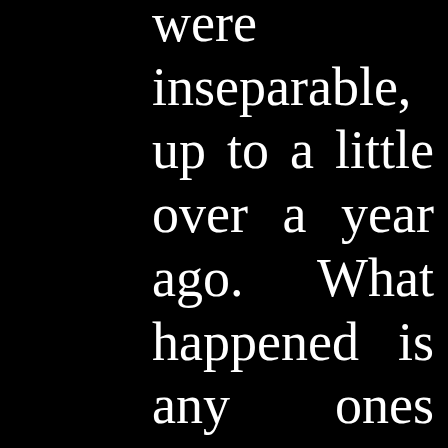were inseparable, up to a little over a year ago. What happened is any ones guess but they have not spoken to each other since then.

The plain was to build a nest egg from wrestling on the private club circuit; maybe to win the tag team title then start teaching. Those plains had changed.